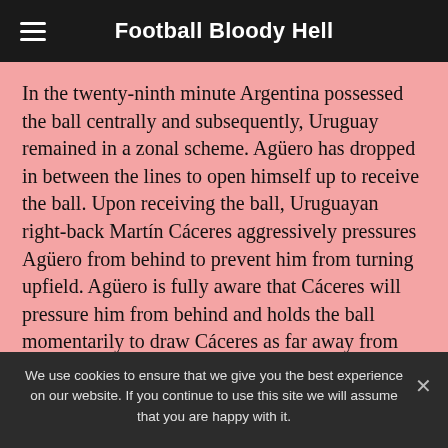Football Bloody Hell
In the twenty-ninth minute Argentina possessed the ball centrally and subsequently, Uruguay remained in a zonal scheme. Agüero has dropped in between the lines to open himself up to receive the ball. Upon receiving the ball, Uruguayan right-back Martín Cáceres aggressively pressures Agüero from behind to prevent him from turning upfield. Agüero is fully aware that Cáceres will pressure him from behind and holds the ball momentarily to draw Cáceres as far away from his former position in the defensive line as possible.
We use cookies to ensure that we give you the best experience on our website. If you continue to use this site we will assume that you are happy with it.